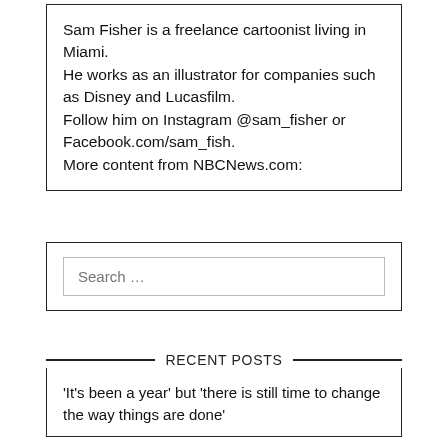Sam Fisher is a freelance cartoonist living in Miami.
He works as an illustrator for companies such as Disney and Lucasfilm.
Follow him on Instagram @sam_fisher or Facebook.com/sam_fish.
More content from NBCNews.com:
Search …
RECENT POSTS
'It's been a year' but 'there is still time to change the way things are done'